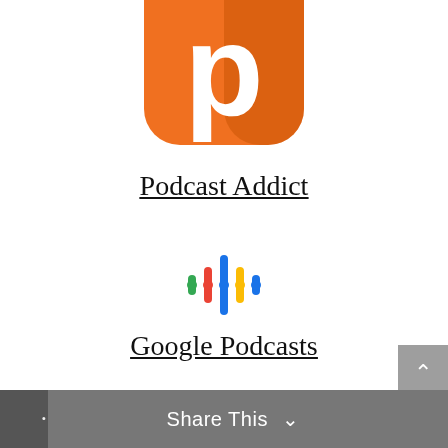[Figure (logo): Podcast Addict app icon — orange rounded square with stylized letter P/headphone shape in white, partially cropped at top]
Podcast Addict
[Figure (logo): Google Podcasts logo — colorful vertical bars in red, yellow, green, blue arranged as sound wave dots]
Google Podcasts
[Figure (logo): Audible app icon — orange square with white WiFi/sound wave book symbol, partially cropped at bottom]
[Figure (other): Grey scroll-to-top button with up arrow chevron on right edge]
Share This